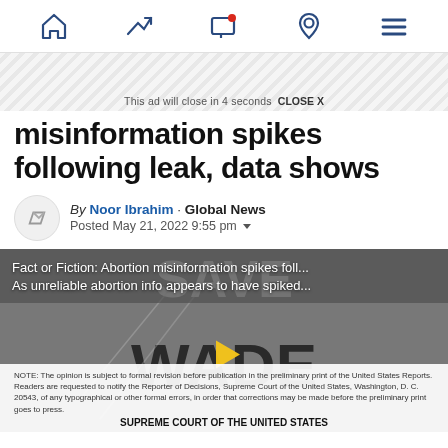Navigation bar with home, trending, screen, location, and menu icons
This ad will close in 4 seconds  CLOSE X
misinformation spikes following leak, data shows
By Noor Ibrahim · Global News
Posted May 21, 2022 9:55 pm
[Figure (photo): Video thumbnail showing protest sign with 'SAVE WADE' text, overlaid with video captions: 'Fact or Fiction: Abortion misinformation spikes foll...' and 'As unreliable abortion info appears to have spiked...' with a play button in the center and a Supreme Court document excerpt at the bottom reading 'SUPREME COURT OF THE UNITED STATES']